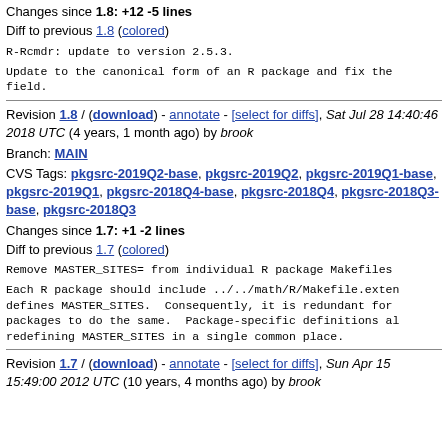Changes since 1.8: +12 -5 lines
Diff to previous 1.8 (colored)
R-Rcmdr: update to version 2.5.3.
Update to the canonical form of an R package and fix the field.
Revision 1.8 / (download) - annotate - [select for diffs], Sat Jul 28 14:40:46 2018 UTC (4 years, 1 month ago) by brook
Branch: MAIN
CVS Tags: pkgsrc-2019Q2-base, pkgsrc-2019Q2, pkgsrc-2019Q1-base, pkgsrc-2019Q1, pkgsrc-2018Q4-base, pkgsrc-2018Q4, pkgsrc-2018Q3-base, pkgsrc-2018Q3
Changes since 1.7: +1 -2 lines
Diff to previous 1.7 (colored)
Remove MASTER_SITES= from individual R package Makefiles
Each R package should include ../../math/R/Makefile.extension which defines MASTER_SITES. Consequently, it is redundant for individual packages to do the same. Package-specific definitions also risk redefining MASTER_SITES in a single common place.
Revision 1.7 / (download) - annotate - [select for diffs], Sun Apr 15 15:49:00 2012 UTC (10 years, 4 months ago) by brook